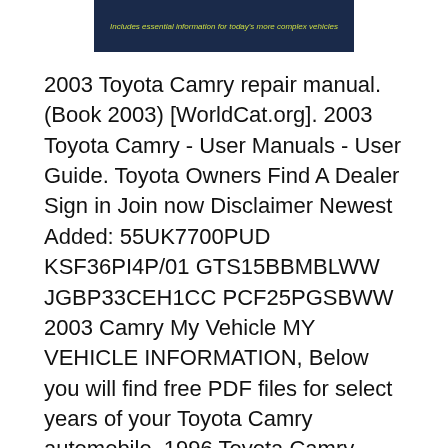[Figure (other): Dark navy blue banner with yellow-green italic text reading 'Includes essential information for today's more complex vehicles']
2003 Toyota Camry repair manual. (Book 2003) [WorldCat.org]. 2003 Toyota Camry - User Manuals - User Guide. Toyota Owners Find A Dealer Sign in Join now Disclaimer Newest Added: 55UK7700PUD KSF36PI4P/01 GTS15BBMBLWW JGBP33CEH1CC PCF25PGSBWW 2003 Camry My Vehicle MY VEHICLE INFORMATION, Below you will find free PDF files for select years of your Toyota Camry automobile. 1996 Toyota Camry Owners Manuals . 1997 Toyota Camry Owners Manuals . 1998 Toyota Camry Owners Manuals . 1999 Toyota Camry Owners Manuals . 2000